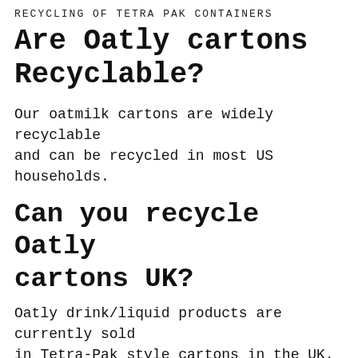RECYCLING OF TETRA PAK CONTAINERS
Are Oatly cartons Recyclable?
Our oatmilk cartons are widely recyclable and can be recycled in most US households.
Can you recycle Oatly cartons UK?
Oatly drink/liquid products are currently sold in Tetra-Pak style cartons in the UK. These cartons are a composite of paperboard, plastic and aluminum and are not easily recyclable in typical kerbside recycling. … Also the types of products that can be created from these waste cartons is very